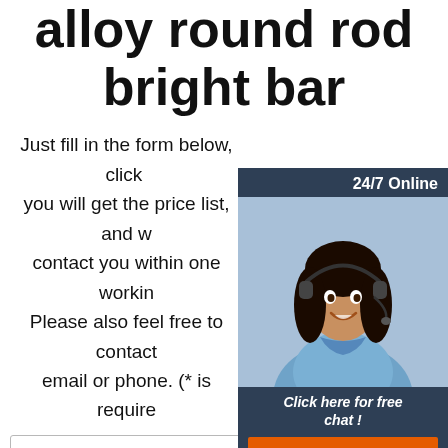alloy round rod bright bar
Just fill in the form below, click submit, you will get the price list, and we will contact you within one working day. Please also feel free to contact us via email or phone. (* is required)
[Figure (infographic): Customer service chat widget: dark blue panel with '24/7 Online' header, photo of a woman with headset, italic text 'Click here for free chat!', and an orange QUOTATION button]
* Name:
* Email:
Please Enter Other Contact Information
Whatsapp  Wechat  Skype  O